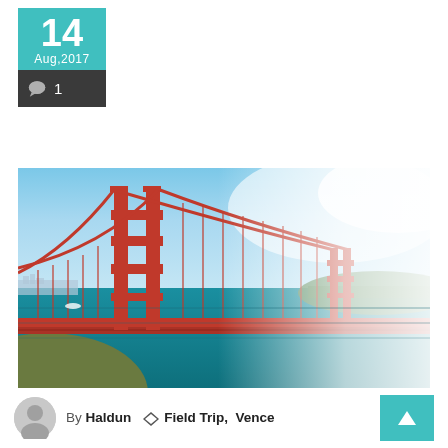14
Aug,2017
💬 1
[Figure (photo): Aerial photograph of the Golden Gate Bridge in San Francisco, showing the iconic red-orange suspension bridge spanning the bay with blue water, city skyline in the background, and fog in the distance.]
By Haldun   Field Trip,  Vence